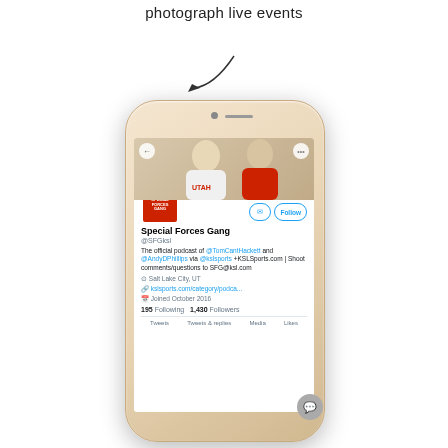photograph live events
[Figure (screenshot): Arrow pointing down toward a smartphone screenshot showing a Twitter profile page for 'Special Forces Gang' (@SFGksl). The profile shows two men in Utah/red hoodies, a profile avatar with the Special Forces Gang logo, Follow button, bio about podcast with @TomCantHackett and @AndyDPhillips via @kslsports +KSLSports.com, location Salt Lake City UT, website kslsports.com/category/podca..., joined October 2016, 195 Following 1,430 Followers, and tabs for Tweets, Tweets & replies, Media, Likes.]